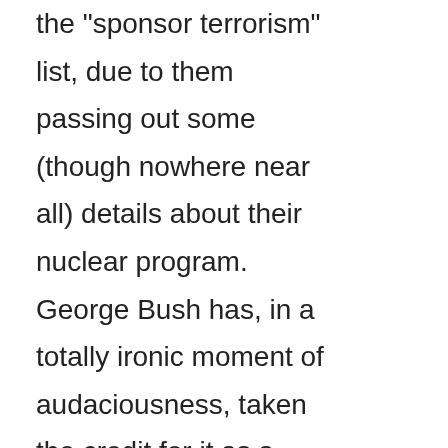the "sponsor terrorism" list, due to them passing out some (though nowhere near all) details about their nuclear program. George Bush has, in a totally ironic moment of audaciousness, taken the credit for it as a "rare foreign policy success," when even the most jingofied American has to realize that any credit is due to the participation of the Chinese government in the negotiations, as well as the horrific rate of starvation that's